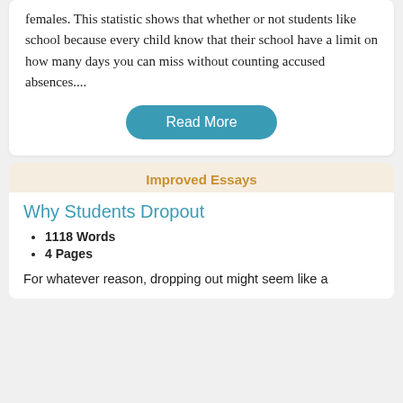females. This statistic shows that whether or not students like school because every child know that their school have a limit on how many days you can miss without counting accused absences....
Read More
Improved Essays
Why Students Dropout
1118 Words
4 Pages
For whatever reason, dropping out might seem like a